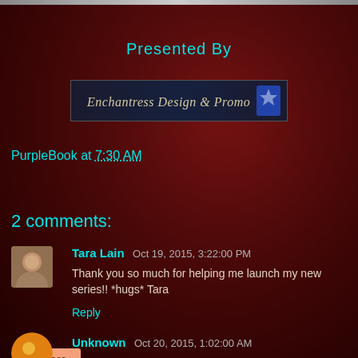Presented By
[Figure (logo): Enchantress Design & Promo banner logo with dark background and decorative script text]
PurpleBook at 7:30 AM
Share
2 comments:
[Figure (photo): Small avatar photo of Tara Lain]
Tara Lain  Oct 19, 2015, 3:22:00 PM
Thank you so much for helping me launch my new series!! *hugs* Tara
Reply
[Figure (photo): Small circular avatar of Unknown commenter (yellow/orange)]
Unknown  Oct 20, 2015, 1:02:00 AM